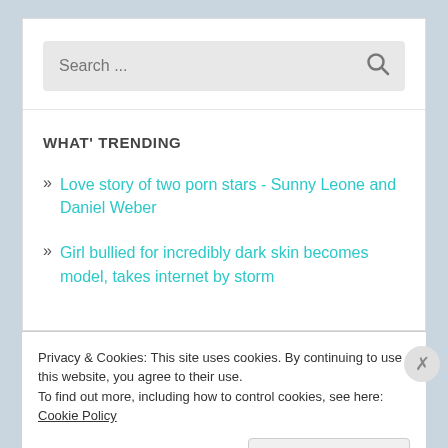[Figure (screenshot): Search bar with placeholder text 'Search ...' and a magnifying glass icon on the right, on a light gray background]
WHAT' TRENDING
Love story of two porn stars - Sunny Leone and Daniel Weber
Girl bullied for incredibly dark skin becomes model, takes internet by storm
Privacy & Cookies: This site uses cookies. By continuing to use this website, you agree to their use.
To find out more, including how to control cookies, see here: Cookie Policy
Close and accept